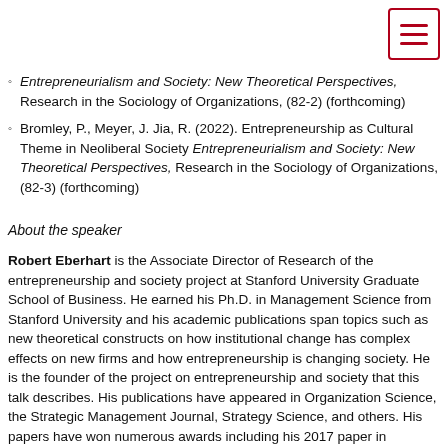Entrepreneurialism and Society: New Theoretical Perspectives, Research in the Sociology of Organizations, (82-2) (forthcoming)
Bromley, P., Meyer, J. Jia, R. (2022). Entrepreneurship as Cultural Theme in Neoliberal Society Entrepreneurialism and Society: New Theoretical Perspectives, Research in the Sociology of Organizations, (82-3) (forthcoming)
About the speaker
Robert Eberhart is the Associate Director of Research of the entrepreneurship and society project at Stanford University Graduate School of Business. He earned his Ph.D. in Management Science from Stanford University and his academic publications span topics such as new theoretical constructs on how institutional change has complex effects on new firms and how entrepreneurship is changing society. He is the founder of the project on entrepreneurship and society that this talk describes. His publications have appeared in Organization Science, the Strategic Management Journal, Strategy Science, and others. His papers have won numerous awards including his 2017 paper in